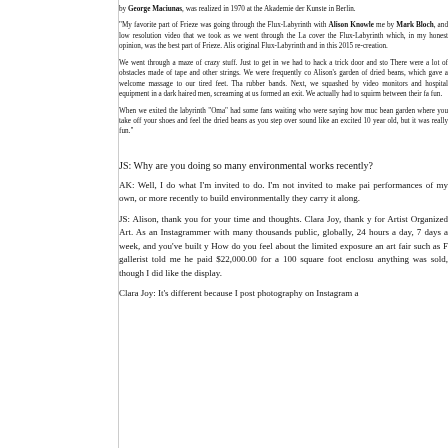by George Maciunas, was realized in 1970 at the Akademie der Kunste in Berlin.
"My favorite part of Frieze was going through the Flux-Labyrinth with Alison Knowles. me by Mark Bloch, and low resolution video that we took as we went through the La cover the Flux-Labyrinth which, in my honest opinion, was the best part of Frieze. Alis original Flux-Labyrinth and in this 2015 re-creation.
We went through a maze of crazy stuff. Just to get in we had to hack a trick door and sto There were a lot of obstacles made of tape and other strings. We were frequently co Alison's garden of dried beans, which gave a welcome massage to our tired feet. Tha rubber bands. Next, we squashed by video monitors and hospital equipment in a dark haired men, screaming at us formed an exit. We actually had to squirm between their fa fun.
When we exited the labyrinth "Oma" had some fans waiting who were saying how muc bean garden where you take off your shoes and feel the dried beans as you step over sound like an excited 10 year old, but it was really fun."
JS: Why are you doing so many environmental works recently?
AK: Well, I do what I'm invited to do. I'm not invited to make pai performances of my own, or more recently to build environmentally they carry it along.
JS: Alison, thank you for your time and thoughts. Clara Joy, thank y for Artist Organized Art. As an Instagrammer with many thousands public, globally, 24 hours a day, 7 days a week, and you've built y How do you feel about the limited exposure an art fair such as F gallerist told me he paid $22,000.00 for a 100 square foot enclosu anything was sold, though I did like the display.
Clara Joy: It's different because I post photography on Instagram a